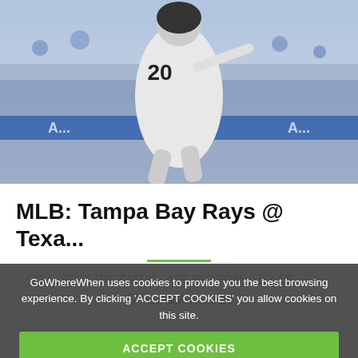[Figure (photo): Baseball player wearing jersey number 20 pitching or in motion, with a blurred crowd in background. MLB game action shot.]
MLB: Tampa Bay Rays @ Texa...
GLOBE LIFE FIELD, ARLINGTON, TEXAS, U...
31 MAY, 2023
GoWhereWhen uses cookies to provide you the best browsing experience. By clicking 'ACCEPT COOKIES' you allow cookies on this site.
ACCEPT COOKIES
DECLINE COOKIES
What are cookies?